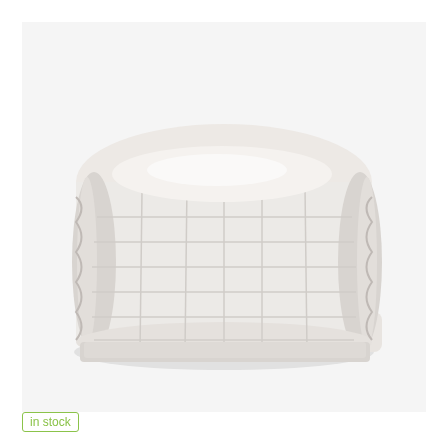[Figure (photo): A white folded/rolled comforter or duvet photographed on a white background. The comforter is rolled into a tight cylinder shape and laid on its side, showing quilted texture and soft fabric folds.]
in stock